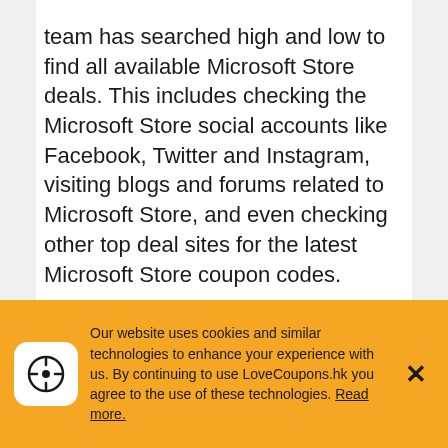team has searched high and low to find all available Microsoft Store deals. This includes checking the Microsoft Store social accounts like Facebook, Twitter and Instagram, visiting blogs and forums related to Microsoft Store, and even checking other top deal sites for the latest Microsoft Store coupon codes.
When shopping online for Microsoft Store, it is a good idea to always visit us here at LoveCoupons.hk before you finish your order. The LoveCoupons.hk team save our visitors thousands of dollars every month, many of which never knew Microsoft Store discount codes were available until visiting our site. Now that you know how easy it is to save at
Our website uses cookies and similar technologies to enhance your experience with us. By continuing to use LoveCoupons.hk you agree to the use of these technologies. Read more.